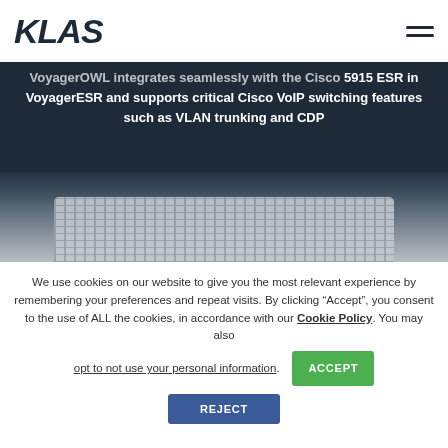KLAS
[Figure (photo): Dark navy hero section showing partial text about VoyagerOWL integrating with Cisco 5915 ESR in VoyagerESR and supporting critical Cisco VoIP switching features such as VLAN trunking and CDP, with an image of a networking/hardware device below]
We use cookies on our website to give you the most relevant experience by remembering your preferences and repeat visits. By clicking “Accept”, you consent to the use of ALL the cookies, in accordance with our Cookie Policy. You may also opt to not use your personal information.
ACCEPT
REJECT